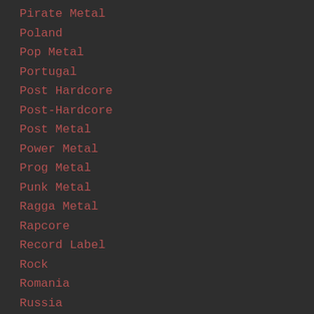Pirate Metal
Poland
Pop Metal
Portugal
Post Hardcore
Post-Hardcore
Post Metal
Power Metal
Prog Metal
Punk Metal
Ragga Metal
Rapcore
Record Label
Rock
Romania
Russia
Samurai Metal
Scotland
Screamo
Serbia
Shred